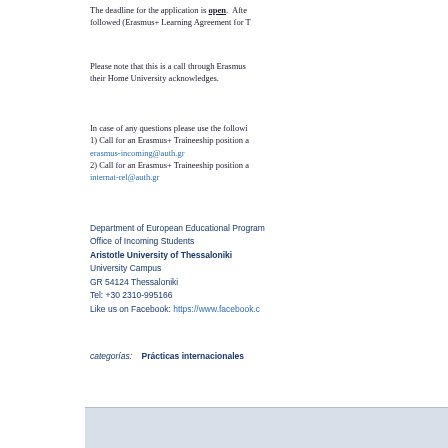The deadline for the application is open. After the deadline of this call, the following procedure should be followed (Erasmus+ Learning Agreement for T...
Please note that this is a call through Erasmus+ program and not all positions have to be recognized by the students' universities. For the recognition of the traineeship their Home University acknowledges.
In case of any questions please use the following contacts:
1) Call for an Erasmus+ Traineeship position at a laboratory/department: erasmus-incoming@auth.gr
2) Call for an Erasmus+ Traineeship position at an administrative service: internat-rel@auth.gr
Department of European Educational Programs
Office of Incoming Students
Aristotle University of Thessaloniki
University Campus
GR 54124 Thessaloniki
Tel: +30 2310-995166
Like us on Facebook: https://www.facebook.c...
categorías: Prácticas internacionales